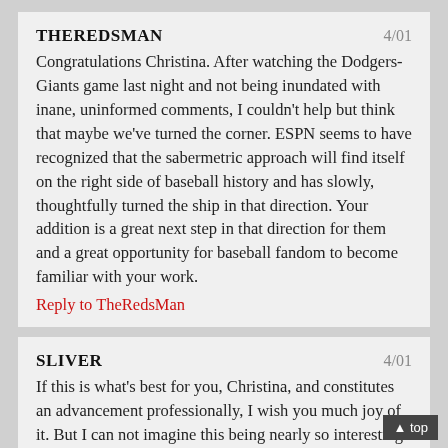THEREDSMAN 4/01
Congratulations Christina. After watching the Dodgers-Giants game last night and not being inundated with inane, uninformed comments, I couldn't help but think that maybe we've turned the corner. ESPN seems to have recognized that the sabermetric approach will find itself on the right side of baseball history and has slowly, thoughtfully turned the ship in that direction. Your addition is a great next step in that direction for them and a great opportunity for baseball fandom to become familiar with your work.
Reply to TheRedsMan
SLIVER 4/01
If this is what's best for you, Christina, and constitutes an advancement professionally, I wish you much joy of it. But I can not imagine this being nearly so interesting a place for me, and coming hard on th